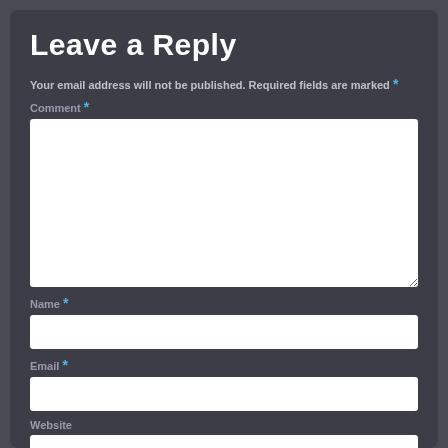Leave a Reply
Your email address will not be published. Required fields are marked *
Comment *
[Figure (other): Large white comment text area input field]
Name *
[Figure (other): White single-line text input field for Name]
Email *
[Figure (other): White single-line text input field for Email]
Website
[Figure (other): White single-line text input field for Website (partially visible)]